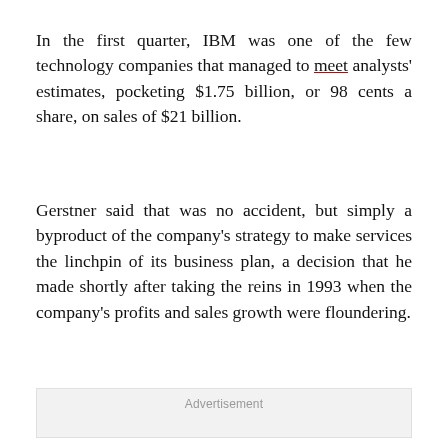In the first quarter, IBM was one of the few technology companies that managed to meet analysts' estimates, pocketing $1.75 billion, or 98 cents a share, on sales of $21 billion.
Gerstner said that was no accident, but simply a byproduct of the company's strategy to make services the linchpin of its business plan, a decision that he made shortly after taking the reins in 1993 when the company's profits and sales growth were floundering.
[Figure (other): Advertisement placeholder box]